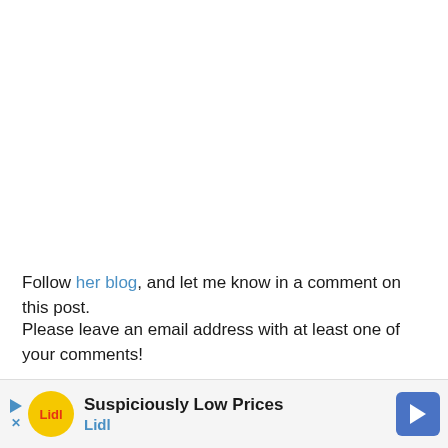Follow her blog, and let me know in a comment on this post.
Please leave an email address with at least one of your comments!
I'll choose a winner Sunday evening, the 4th. Good luck!
The wi…
[Figure (other): Lidl advertisement banner: 'Suspiciously Low Prices — Lidl' with Lidl logo and arrow icon]